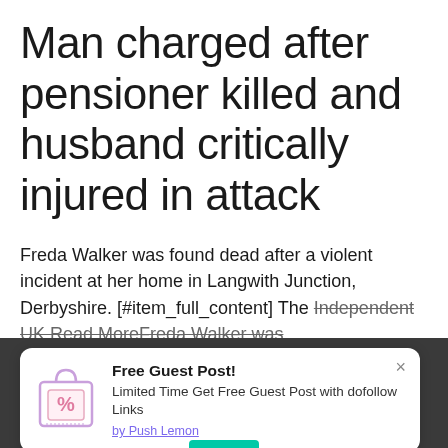Man charged after pensioner killed and husband critically injured in attack
Freda Walker was found dead after a violent incident at her home in Langwith Junction, Derbyshire. [#item_full_content] The Independent UK Read MoreFreda Walker was
[Figure (other): Popup advertisement card with shopping bag icon showing a percent sign, titled 'Free Guest Post!' with body text 'Limited Time Get Free Guest Post with dofollow Links' and a link 'by Push Lemon'. A close (×) button appears top right.]